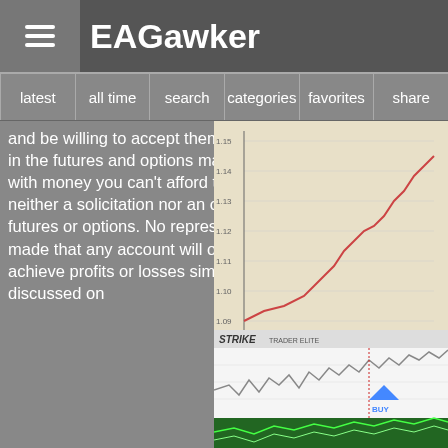EAGawker
latest | all time | search | categories | favorites | share
and be willing to accept them in order to invest in the futures and options markets. Don't trade with money you can't afford to lose. This is neither a solicitation nor an offer to Buy/Sell futures or options. No representation is being made that any account will or is likely to achieve profits or losses similar to those discussed on
[Figure (screenshot): Trading signal panel showing EUR/USD, Broker Spread 0.08, Your Balance 498, Current Trend: DOWN, Confirmation 1, Confirmation 2, BUY button]
[Figure (screenshot): Stock chart showing candlestick chart with trading interface]
[Figure (screenshot): Blank/white image placeholder]
[Figure (screenshot): Trading chart showing exit at 1,523$ with candlestick pattern and blue arrow buy signal]
[Figure (screenshot): Price chart with upward trend - top right]
[Figure (photo): Bitcoin gold coins on keyboard]
[Figure (screenshot): Strike Trader Elite chart with BUY signal, blue arrow, green area indicator]
[Figure (screenshot): Partial image at bottom right]